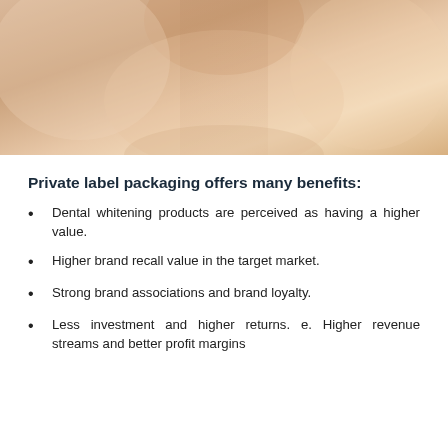[Figure (photo): Close-up photo of a person's neck/chin area showing skin tone, cropped at the top of the page]
Private label packaging offers many benefits:
Dental whitening products are perceived as having a higher value.
Higher brand recall value in the target market.
Strong brand associations and brand loyalty.
Less investment and higher returns. e. Higher revenue streams and better profit margins
(partial text cut off at bottom)